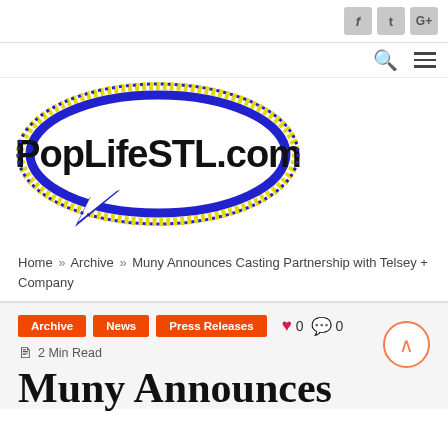PopLifeSTL.com — social icons: f, t, G+
[Figure (logo): PopLifeSTL.com speech bubble logo with blue and yellow dotted border]
Home » Archive » Muny Announces Casting Partnership with Telsey + Company
Archive  News  Press Releases  ♥ 0  💬 0  2 Min Read
Muny Announces